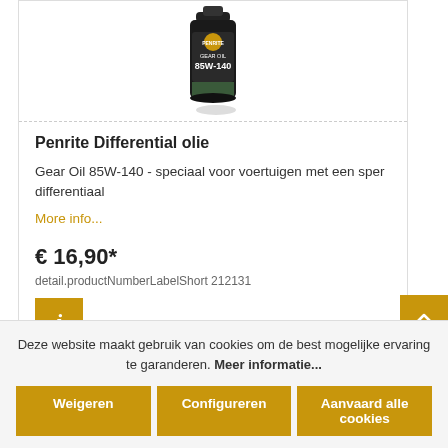[Figure (photo): Penrite Gear Oil 85W-140 product bottle, dark colored container with label, partially visible from above]
Penrite Differential olie
Gear Oil 85W-140 - speciaal voor voertuigen met een sper differentiaal
More info...
€ 16,90*
detail.productNumberLabelShort 212131
Deze website maakt gebruik van cookies om de best mogelijke ervaring te garanderen. Meer informatie...
Weigeren
Configureren
Aanvaard alle cookies